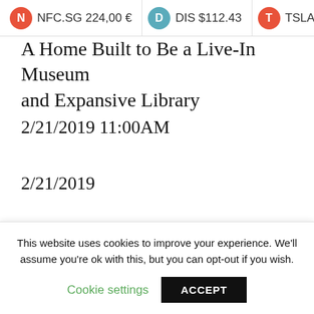NFC.SG 224,00 €   DIS $112.43   TSLA $
A Home Built to Be a Live-In Museum and Expansive Library
2/21/2019 11:00AM
2/21/2019
More →
More →
Sponsored
This website uses cookies to improve your experience. We'll assume you're ok with this, but you can opt-out if you wish. Cookie settings ACCEPT